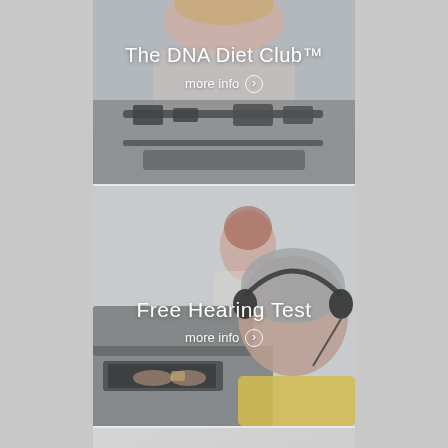[Figure (photo): Photo of a smiling woman with short blonde hair adjusting a scale, overlaid with white text 'The DNA Diet Club™' and 'more info' with arrow button]
[Figure (photo): Photo of a man wearing headphones seen from behind, with a female healthcare professional at a computer in the background, overlaid with white text 'Free Hearing Test' and 'more info' with arrow button]
[Figure (photo): Partially visible panel with light gray background and white text 'Flu Shot' partially visible at bottom]